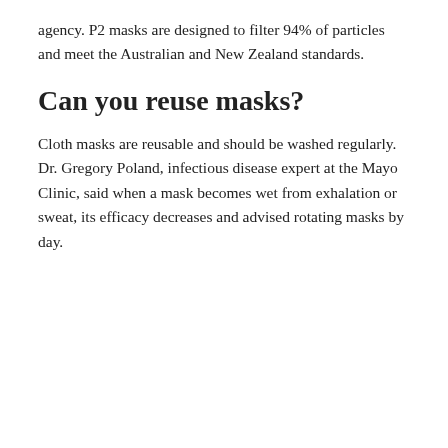agency. P2 masks are designed to filter 94% of particles and meet the Australian and New Zealand standards.
Can you reuse masks?
Cloth masks are reusable and should be washed regularly. Dr. Gregory Poland, infectious disease expert at the Mayo Clinic, said when a mask becomes wet from exhalation or sweat, its efficacy decreases and advised rotating masks by day.